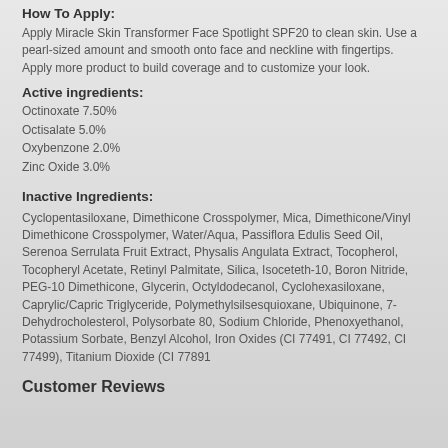How To Apply:
Apply Miracle Skin Transformer Face Spotlight SPF20 to clean skin. Use a pearl-sized amount and smooth onto face and neckline with fingertips.  Apply more product to build coverage and to customize your look.
Active ingredients:
Octinoxate 7.50%
Octisalate 5.0%
Oxybenzone 2.0%
Zinc Oxide 3.0%
Inactive Ingredients:
Cyclopentasiloxane, Dimethicone Crosspolymer, Mica, Dimethicone/Vinyl Dimethicone Crosspolymer, Water/Aqua, Passiflora Edulis Seed Oil, Serenoa Serrulata Fruit Extract, Physalis Angulata Extract, Tocopherol, Tocopheryl Acetate, Retinyl Palmitate, Silica, Isoceteth-10, Boron Nitride, PEG-10 Dimethicone, Glycerin, Octyldodecanol, Cyclohexasiloxane, Caprylic/Capric Triglyceride, Polymethylsilsesquioxane, Ubiquinone, 7-Dehydrocholesterol, Polysorbate 80, Sodium Chloride, Phenoxyethanol, Potassium Sorbate, Benzyl Alcohol, Iron Oxides (CI 77491, CI 77492, CI 77499), Titanium Dioxide (CI 77891
Customer Reviews